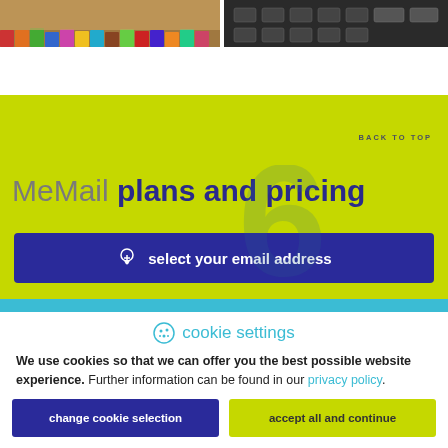[Figure (photo): Two cropped photos side by side: left shows colorful pencil tips arranged closely, right shows a dark keyboard or electronic device]
BACK TO TOP
MeMail plans and pricing
select your email address
cookie settings
We use cookies so that we can offer you the best possible website experience. Further information can be found in our privacy policy.
change cookie selection
accept all and continue